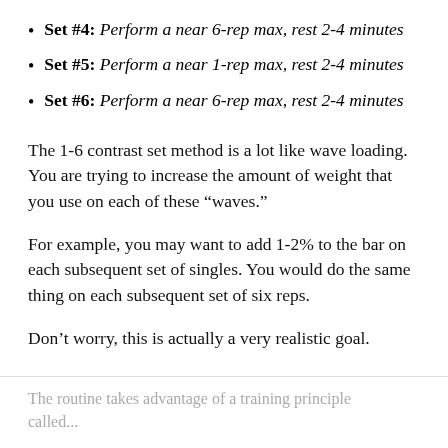Set #4: Perform a near 6-rep max, rest 2-4 minutes
Set #5: Perform a near 1-rep max, rest 2-4 minutes
Set #6: Perform a near 6-rep max, rest 2-4 minutes
The 1-6 contrast set method is a lot like wave loading. You are trying to increase the amount of weight that you use on each of these “waves.”
For example, you may want to add 1-2% to the bar on each subsequent set of singles. You would do the same thing on each subsequent set of six reps.
Don’t worry, this is actually a very realistic goal.
The routine takes advantage of a training principle called...